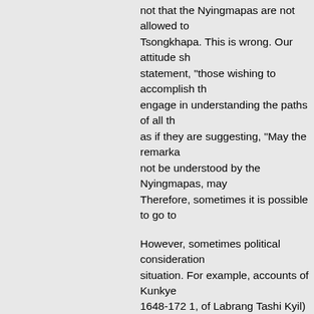not that the Nyingmapas are not allowed to study Tsongkhapa. This is wrong. Our attitude should be the statement, "those wishing to accomplish the should engage in understanding the paths of all the" – not as if they are suggesting, "May the remarkable text not be understood by the Nyingmapas, may it not..." Therefore, sometimes it is possible to go to
However, sometimes political considerations affect the situation. For example, accounts of Kunkyen (born 1648-172 1, of Labrang Tashi Kyil) explain that he came to see Kunkyen Lama Jamshe Ngawang... receiving a commentary to some text from him. Lhasang (Lhasang Khan, leader of the Dzungars) and so there was much activity and he was... Kunkyen Lama Jamshe Ngawang Tsondrue and the Dalai Lama, who was preceptor at Jamyang, was a monk. There is hardly any text by Kunkyen Losang... homage to the victorious father and son. In... in his Great Text on Tenets he says somethi
"If you think over and over again of the way